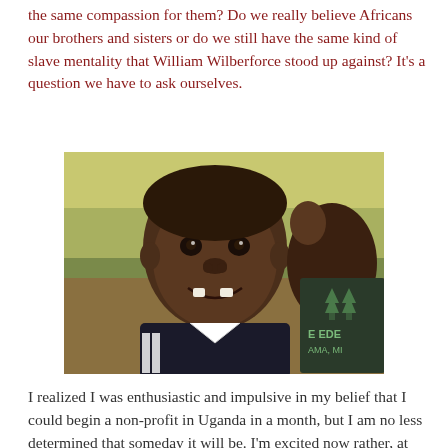the same compassion for them? Do we really believe Africans our brothers and sisters or do we still have the same kind of slave mentality that William Wilberforce stood up against? It's a question we have to ask ourselves.
[Figure (photo): A smiling African child wearing a dark and white sports jacket, with a hand visible behind them. The child has short hair and is missing some front teeth. A shirt with 'EDEN' text is partially visible in the background. Outdoor setting with green and yellow-brown background.]
I realized I was enthusiastic and impulsive in my belief that I could begin a non-profit in Uganda in a month, but I am no less determined that someday it will be. I'm excited now rather, at the